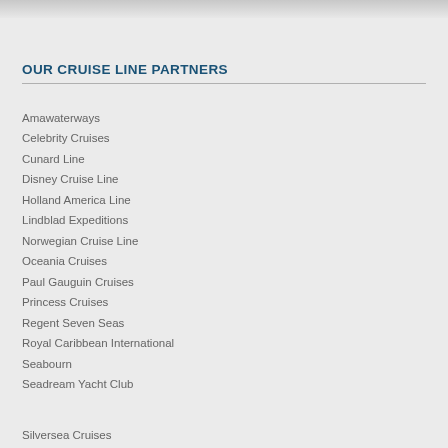OUR CRUISE LINE PARTNERS
Amawaterways
Celebrity Cruises
Cunard Line
Disney Cruise Line
Holland America Line
Lindblad Expeditions
Norwegian Cruise Line
Oceania Cruises
Paul Gauguin Cruises
Princess Cruises
Regent Seven Seas
Royal Caribbean International
Seabourn
Seadream Yacht Club
Silversea Cruises
Star Clippers